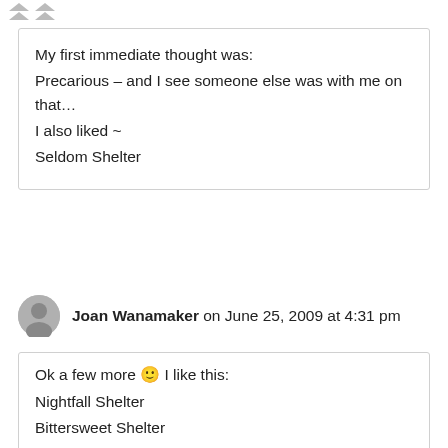My first immediate thought was:
Precarious – and I see someone else was with me on that…
I also liked ~
Seldom Shelter
Reply
Joan Wanamaker on June 25, 2009 at 4:31 pm
Ok a few more 🙂 I like this:
Nightfall Shelter
Bittersweet Shelter
Break Point Shelter
Breaker's Shelter